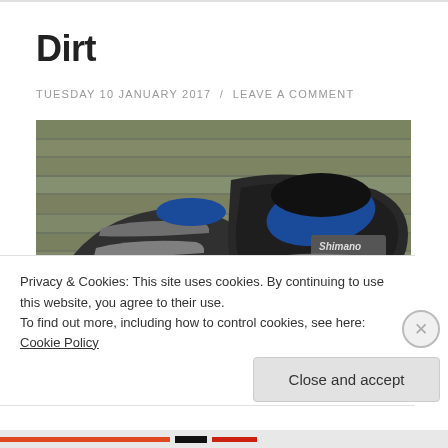Dirt
TUESDAY 10 JANUARY 2017  /  LEAVE A COMMENT
[Figure (photo): A pair of dirty black Shimano cycling shoes with velcro straps and blue insoles, placed on a wooden surface outdoors]
Privacy & Cookies: This site uses cookies. By continuing to use this website, you agree to their use.
To find out more, including how to control cookies, see here: Cookie Policy
Close and accept